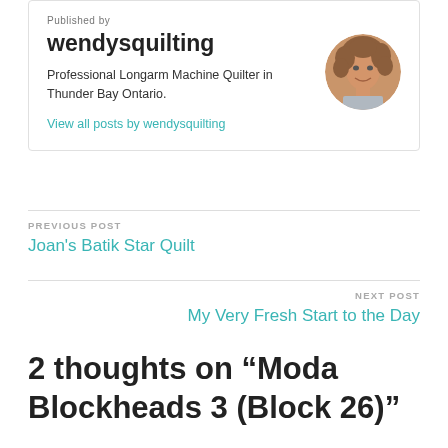Published by
wendysquilting
Professional Longarm Machine Quilter in Thunder Bay Ontario.
View all posts by wendysquilting
[Figure (photo): Circular profile photo of a woman with curly brown hair, smiling]
PREVIOUS POST
Joan's Batik Star Quilt
NEXT POST
My Very Fresh Start to the Day
2 thoughts on “Moda Blockheads 3 (Block 26)”